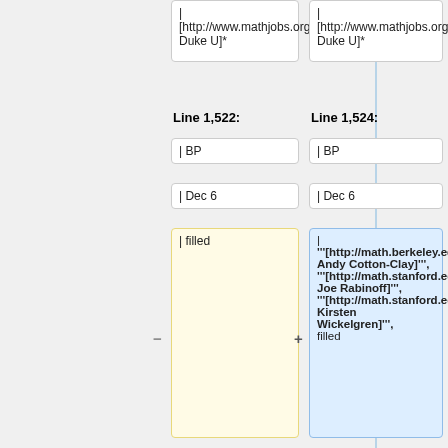| [http://www.mathjobs.org/jobs/Duke/1471 Duke U]*
| [http://www.mathjobs.org/jobs/Duke/1471 Duke U]*
Line 1,522:
Line 1,524:
| BP
| BP
| Dec 6
| Dec 6
| filled
| '''[http://math.berkeley.edu/~acotton/ Andy Cotton-Clay]''', '''[http://math.stanford.edu/~rabinoff/ Joe Rabinoff]''', '''[http://math.stanford.edu/~kirsten/ Kirsten Wickelgren]''', filled